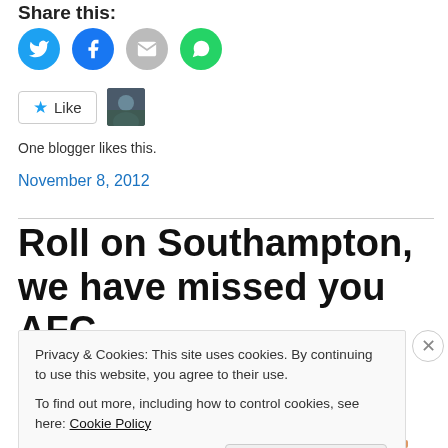Share this:
[Figure (infographic): Social sharing icons: Twitter (blue), Facebook (blue), Email (grey), WhatsApp (green)]
[Figure (infographic): Like button with star icon and blogger avatar thumbnail]
One blogger likes this.
November 8, 2012
Roll on Southampton, we have missed you AFC.
Privacy & Cookies: This site uses cookies. By continuing to use this website, you agree to their use.
To find out more, including how to control cookies, see here: Cookie Policy